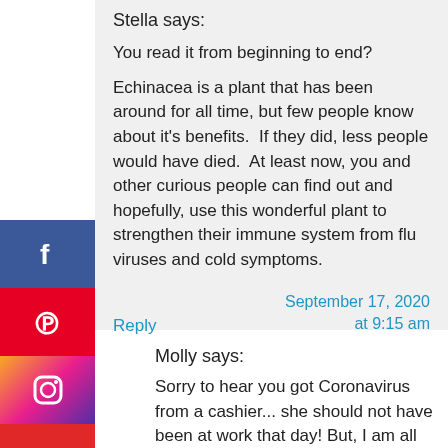Stella says:
You read it from beginning to end?
Echinacea is a plant that has been around for all time, but few people know about it's benefits.  If they did, less people would have died.  At least now, you and other curious people can find out and hopefully, use this wonderful plant to strengthen their immune system from flu viruses and cold symptoms.
Reply
September 17, 2020 at 9:15 am
Molly says:
Sorry to hear you got Coronavirus from a cashier... she should not have been at work that day!  But, I am all for natural remedies for